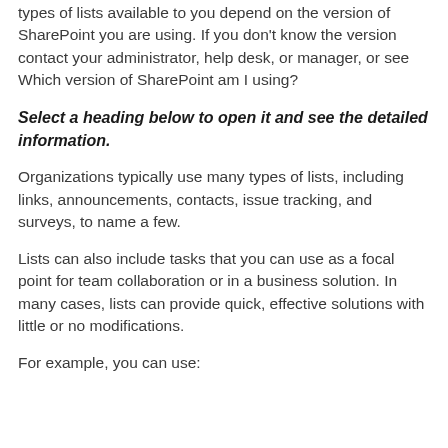types of lists available to you depend on the version of SharePoint you are using. If you don’t know the version contact your administrator, help desk, or manager, or see Which version of SharePoint am I using?
Select a heading below to open it and see the detailed information.
Organizations typically use many types of lists, including links, announcements, contacts, issue tracking, and surveys, to name a few.
Lists can also include tasks that you can use as a focal point for team collaboration or in a business solution. In many cases, lists can provide quick, effective solutions with little or no modifications.
For example, you can use: